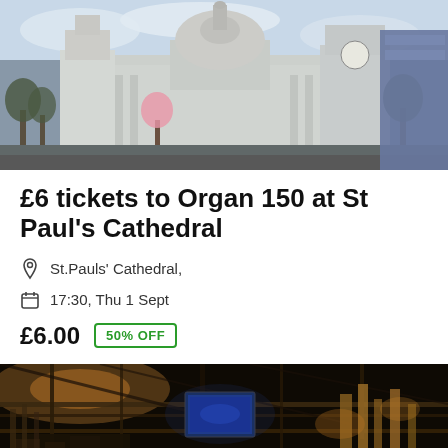[Figure (photo): Exterior photograph of St Paul's Cathedral in London, showing the classical baroque architecture against a cloudy sky with bare winter trees in the foreground.]
£6 tickets to Organ 150 at St Paul's Cathedral
St.Pauls' Cathedral,
17:30, Thu 1 Sept
£6.00  50% OFF
[Figure (photo): Dark interior photograph showing the organ pipes and mechanical components of the organ at St Paul's Cathedral, illuminated with dramatic lighting.]